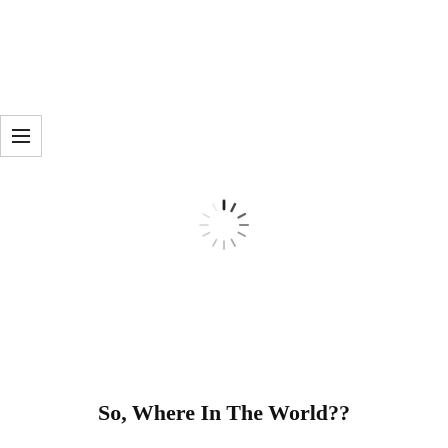[Figure (other): Hamburger menu button icon — three horizontal lines inside a white box with border]
[Figure (other): Loading spinner icon — radial lines arranged in a circle, dark at top fading to light gray]
So, Where In The World??